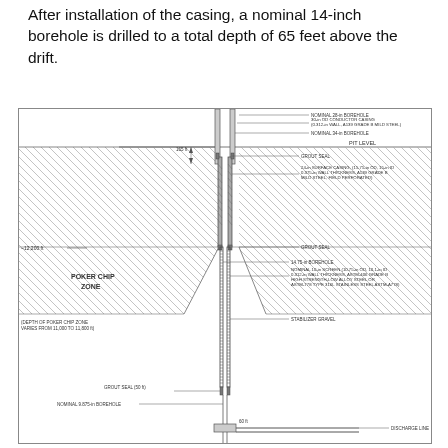After installation of the casing, a nominal 14-inch borehole is drilled to a total depth of 65 feet above the drift.
[Figure (engineering-diagram): Cross-section engineering diagram of a deep borehole well installation showing: nominal 28-in borehole, 30-in OD conductor casing (0.312-in wall, A139 Grade B mild steel), nominal 34-in borehole, pit level, grout seal, 24-in surface casing (15.75-in OD, 15-in ID, 0.375-in wall thickness, A139 Grade B mild steel, field perforated), grout seal at ~12,200 ft, 14.75-in borehole, poker chip zone, nominal 10-in screen (10.75-in OD, 10.1-in ID, 0.312-in wall thickness, ASTM-A06 Grade B high strength-low alloy steel or ASTM-778 Type 316L stainless steel ASTM-A778), stabilizer gravel, depth of poker chip zone varies from 11,000 to 11,800 ft, grout seal (50 ft), nominal 9.875-in borehole, 60 ft, discharge line.]